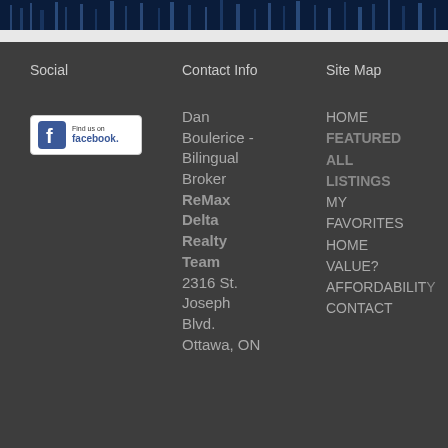[Figure (photo): Dark blue nighttime cityscape image strip at top]
Social
Contact Info
Site Map
[Figure (logo): Find us on Facebook badge/button]
Dan Boulerice - Bilingual Broker
ReMax Delta Realty Team
2316 St. Joseph Blvd.
Ottawa, ON
HOME
FEATURED ALL LISTINGS
MY FAVORITES
HOME VALUE?
AFFORDABILITY
CONTACT